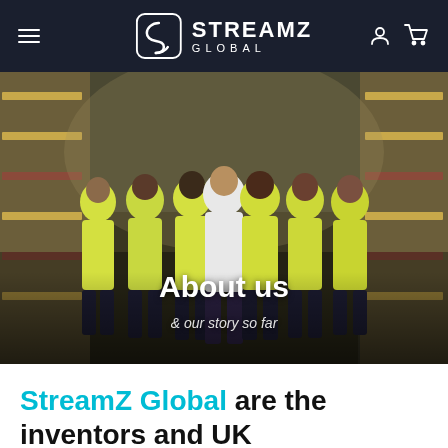StreamZ Global — Navigation bar with hamburger menu, logo, user and cart icons
[Figure (photo): Group of seven warehouse workers in yellow high-visibility vests standing in a large industrial warehouse with racking shelves visible in the background. Overlaid text reads 'About us' and '& our story so far'.]
About us
& our story so far
StreamZ Global are the inventors and UK manufacturers of a